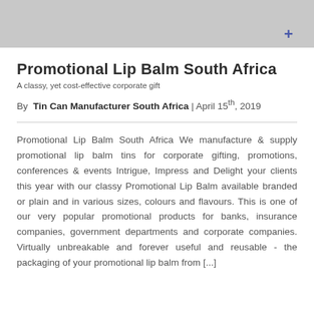[Figure (photo): Top portion of a lip balm tin product photo on a grey/beige background, partially cropped. A blue plus symbol is visible on the tin.]
Promotional Lip Balm South Africa
A classy, yet cost-effective corporate gift
By Tin Can Manufacturer South Africa | April 15th, 2019
Promotional Lip Balm South Africa We manufacture & supply promotional lip balm tins for corporate gifting, promotions, conferences & events Intrigue, Impress and Delight your clients this year with our classy Promotional Lip Balm available branded or plain and in various sizes, colours and flavours. This is one of our very popular promotional products for banks, insurance companies, government departments and corporate companies. Virtually unbreakable and forever useful and reusable - the packaging of your promotional lip balm from [...]